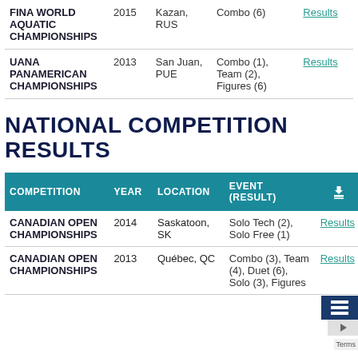| COMPETITION | YEAR | LOCATION | EVENT (RESULT) |  |
| --- | --- | --- | --- | --- |
| FINA WORLD AQUATIC CHAMPIONSHIPS | 2015 | Kazan, RUS | Combo (6) | Results |
| UANA PANAMERICAN CHAMPIONSHIPS | 2013 | San Juan, PUE | Combo (1), Team (2), Figures (6) | Results |
NATIONAL COMPETITION RESULTS
| COMPETITION | YEAR | LOCATION | EVENT (RESULT) |  |
| --- | --- | --- | --- | --- |
| CANADIAN OPEN CHAMPIONSHIPS | 2014 | Saskatoon, SK | Solo Tech (2), Solo Free (1) | Results |
| CANADIAN OPEN CHAMPIONSHIPS | 2013 | Québec, QC | Combo (3), Team (4), Duet (6), Solo (3), Figures | Results |